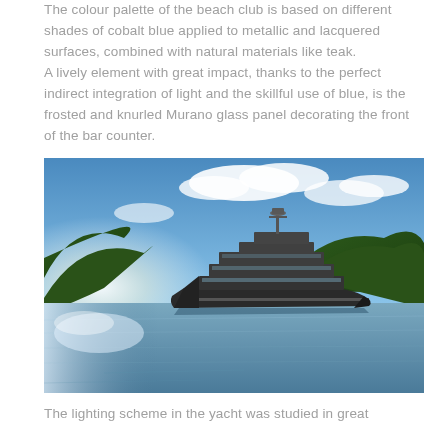The colour palette of the beach club is based on different shades of cobalt blue applied to metallic and lacquered surfaces, combined with natural materials like teak. A lively element with great impact, thanks to the perfect indirect integration of light and the skillful use of blue, is the frosted and knurled Murano glass panel decorating the front of the bar counter.
[Figure (photo): A luxury superyacht anchored in a tropical bay with lush green hills in the background and blue sky with clouds above. The yacht is large, dark-hulled with multiple decks, photographed from the side in calm waters with sunlight glinting off the water.]
The lighting scheme in the yacht was studied in great